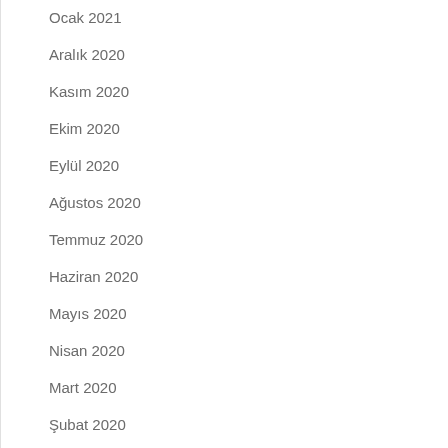Ocak 2021
Aralık 2020
Kasım 2020
Ekim 2020
Eylül 2020
Ağustos 2020
Temmuz 2020
Haziran 2020
Mayıs 2020
Nisan 2020
Mart 2020
Şubat 2020
Ocak 2020
Aralık 2019
Kasım 2019